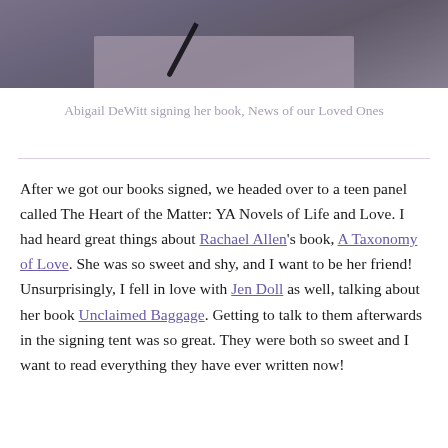[Figure (photo): Photo of Abigail DeWitt signing her book, showing a pen and pink/light-colored book on a dark surface, cropped at top]
Abigail DeWitt signing her book, News of our Loved Ones
After we got our books signed, we headed over to a teen panel called The Heart of the Matter: YA Novels of Life and Love. I had heard great things about Rachael Allen's book, A Taxonomy of Love. She was so sweet and shy, and I want to be her friend! Unsurprisingly, I fell in love with Jen Doll as well, talking about her book Unclaimed Baggage. Getting to talk to them afterwards in the signing tent was so great. They were both so sweet and I want to read everything they have ever written now!